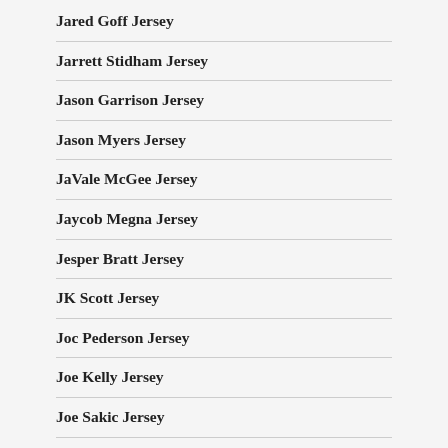Jared Goff Jersey
Jarrett Stidham Jersey
Jason Garrison Jersey
Jason Myers Jersey
JaVale McGee Jersey
Jaycob Megna Jersey
Jesper Bratt Jersey
JK Scott Jersey
Joc Pederson Jersey
Joe Kelly Jersey
Joe Sakic Jersey
John Kruk Jersey